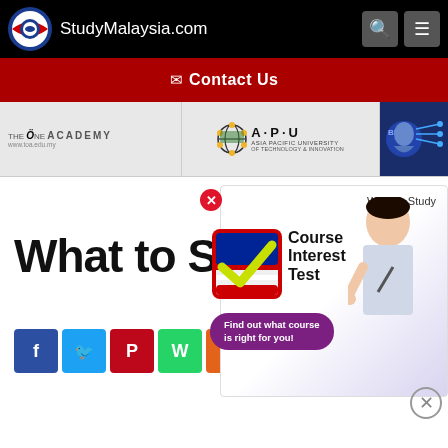StudyMalaysia.com
✉ Contact Us
[Figure (infographic): Advertisement banners: The One Academy and Asia Pacific University (APU) of Technology & Innovation logos]
What to Stu...
[Figure (infographic): Course Interest Test popup with checkmark logo, person thinking, and tagline 'Find out what course is right for you!']
220 social shares - Facebook, Twitter, Pinterest, WhatsApp, Mix, More